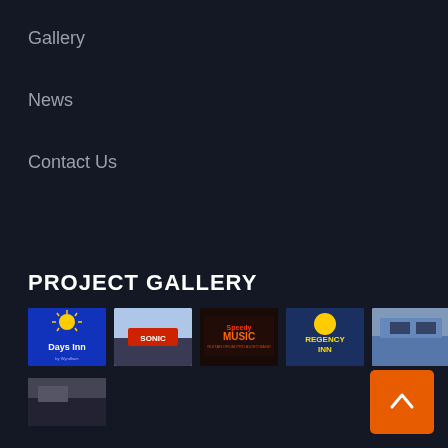Gallery
News
Contact Us
PROJECT GALLERY
[Figure (photo): Days Inn hotel sign with blue background and sun logo]
[Figure (photo): Sonic Drive-In restaurant sign on building exterior]
[Figure (photo): Speedy Music store sign with red text on dark background]
[Figure (photo): Regency Inn hotel sign with yellow circle emblem on dark blue background]
[Figure (photo): Hotel or motel exterior building with signage]
[Figure (photo): Partial thumbnail of a sign or building exterior]